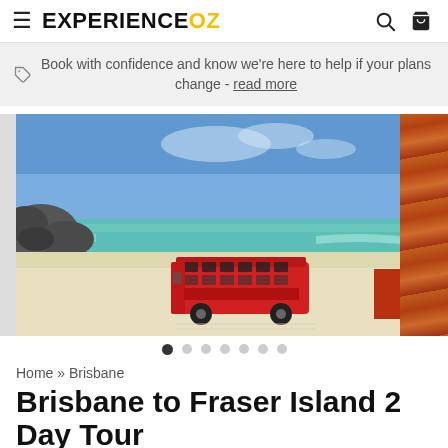EXPERIENCE OZ
Book with confidence and know we're here to help if your plans change - read more
[Figure (photo): A red bus driving on a sandy beach with rocks and blue ocean in the background. A partial view of another orange/red vehicle on the right edge.]
Home » Brisbane
Brisbane to Fraser Island 2 Day Tour